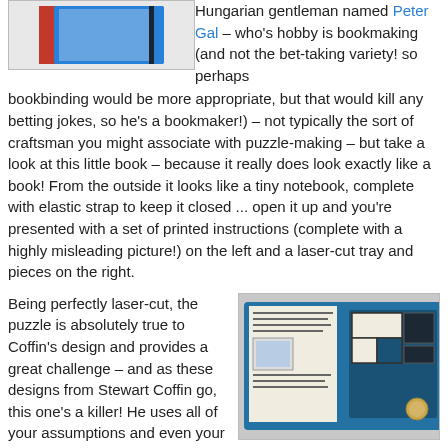[Figure (photo): Photo of a small blue and red notebook/book puzzle, closed, showing the cover with an elastic strap.]
Hungarian gentleman named Peter Gal – who's hobby is bookmaking (and not the bet-taking variety! so perhaps bookbinding would be more appropriate, but that would kill any betting jokes, so he's a bookmaker!) – not typically the sort of craftsman you might associate with puzzle-making – but take a look at this little book – because it really does look exactly like a book! From the outside it looks like a tiny notebook, complete with elastic strap to keep it closed ... open it up and you're presented with a set of printed instructions (complete with a highly misleading picture!) on the left and a laser-cut tray and pieces on the right.
Being perfectly laser-cut, the puzzle is absolutely true to Coffin's design and provides a great challenge – and as these designs from Stewart Coffin go, this one's a killer! He uses all of your assumptions and even your
[Figure (photo): Photo of the open book puzzle showing the inside: left page has printed instructions with a misleading picture, right side has a blue laser-cut tray with white and dark puzzle pieces. A coin is visible at the bottom right for scale.]